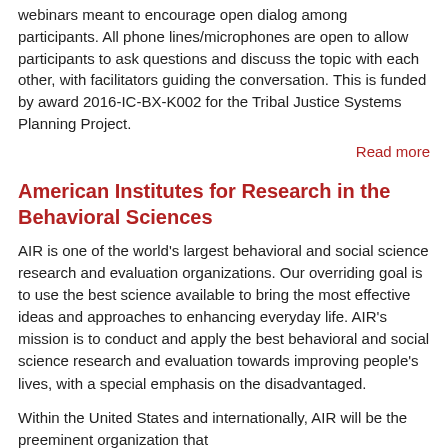webinars meant to encourage open dialog among participants. All phone lines/microphones are open to allow participants to ask questions and discuss the topic with each other, with facilitators guiding the conversation. This is funded by award 2016-IC-BX-K002 for the Tribal Justice Systems Planning Project.
Read more
American Institutes for Research in the Behavioral Sciences
AIR is one of the world's largest behavioral and social science research and evaluation organizations. Our overriding goal is to use the best science available to bring the most effective ideas and approaches to enhancing everyday life. AIR's mission is to conduct and apply the best behavioral and social science research and evaluation towards improving people's lives, with a special emphasis on the disadvantaged.
Within the United States and internationally, AIR will be the preeminent organization that
Active BJA Funded Project(s):